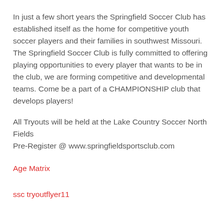In just a few short years the Springfield Soccer Club has established itself as the home for competitive youth soccer players and their families in southwest Missouri. The Springfield Soccer Club is fully committed to offering playing opportunities to every player that wants to be in the club, we are forming competitive and developmental teams. Come be a part of a CHAMPIONSHIP club that develops players!
All Tryouts will be held at the Lake Country Soccer North Fields
Pre-Register @ www.springfieldsportsclub.com
Age Matrix
ssc tryoutflyer11